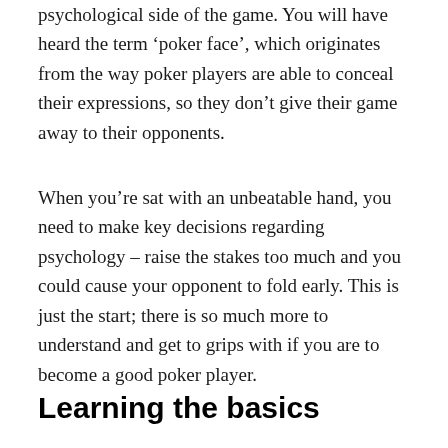psychological side of the game. You will have heard the term ‘poker face’, which originates from the way poker players are able to conceal their expressions, so they don’t give their game away to their opponents.
When you’re sat with an unbeatable hand, you need to make key decisions regarding psychology – raise the stakes too much and you could cause your opponent to fold early. This is just the start; there is so much more to understand and get to grips with if you are to become a good poker player.
Learning the basics